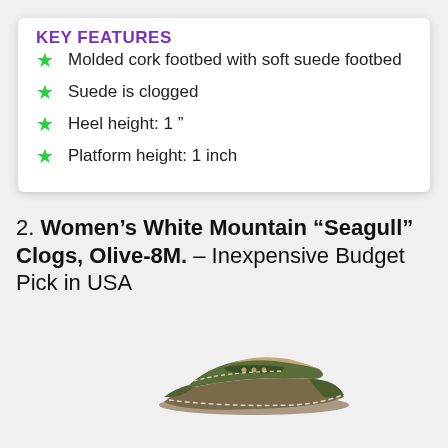KEY FEATURES
Molded cork footbed with soft suede footbed
Suede is clogged
Heel height: 1 "
Platform height: 1 inch
2. Women's White Mountain “Seagull” Clogs, Olive-8M. – Inexpensive Budget Pick in USA
[Figure (photo): Photo of an olive-colored Women's White Mountain Seagull clog shoe with wedge heel and strap, shown from the side]